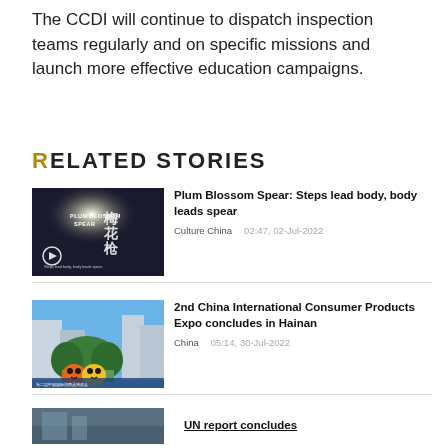The CCDI will continue to dispatch inspection teams regularly and on specific missions and launch more effective education campaigns.
RELATED STORIES
[Figure (photo): Video thumbnail for 'Plum Blossom Spear' showing Chinese calligraphy and the text 'PLUM BLOSSOM SPEAR' with a play button overlay]
Plum Blossom Spear: Steps lead body, body leads spear
Culture China    02:47, 02-Jul-2022
[Figure (photo): Photo of the 2nd China International Consumer Products Expo venue in Hainan, showing decorative mascot figures and event banners]
2nd China International Consumer Products Expo concludes in Hainan
China    05:14, 30-Jul-2022
[Figure (photo): Partial thumbnail of a third story about a UN report]
UN report concludes